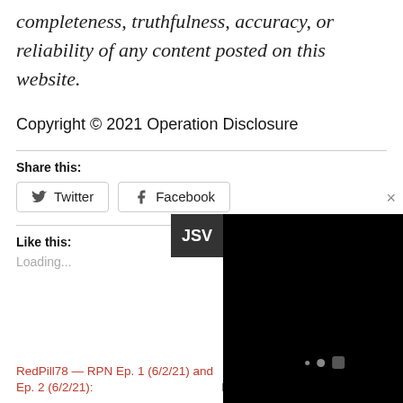completeness, truthfulness, accuracy, or reliability of any content posted on this website.
Copyright © 2021 Operation Disclosure
Share this:
Twitter
Facebook
Like this:
Loading...
[Figure (screenshot): Video overlay panel showing a dark/black video player with JSV badge and close button, and dots indicating playback controls.]
RedPill78 — RPN Ep. 1 (6/2/21) and Ep. 2 (6/2/21):
Perkins Coie to Shut Down